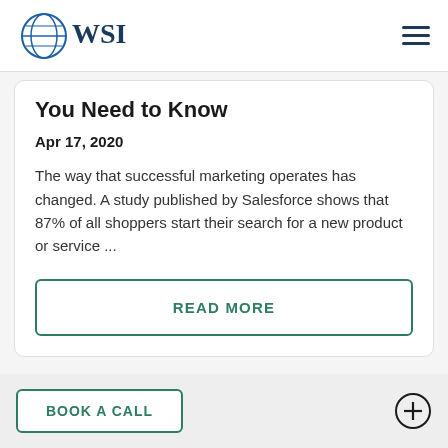[Figure (logo): WSI logo with globe icon in blue]
You Need to Know
Apr 17, 2020
The way that successful marketing operates has changed. A study published by Salesforce shows that 87% of all shoppers start their search for a new product or service ...
READ MORE
BOOK A CALL